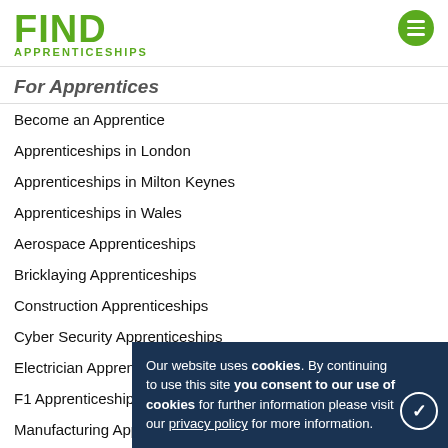FIND APPRENTICESHIPS
For Apprentices
Become an Apprentice
Apprenticeships in London
Apprenticeships in Milton Keynes
Apprenticeships in Wales
Aerospace Apprenticeships
Bricklaying Apprenticeships
Construction Apprenticeships
Cyber Security Apprenticeships
Electrician Apprenticeships
F1 Apprenticeships
Manufacturing Apprenticeships
Plastering Apprenticeships
Our website uses cookies. By continuing to use this site you consent to our use of cookies for further information please visit our privacy policy for more information.